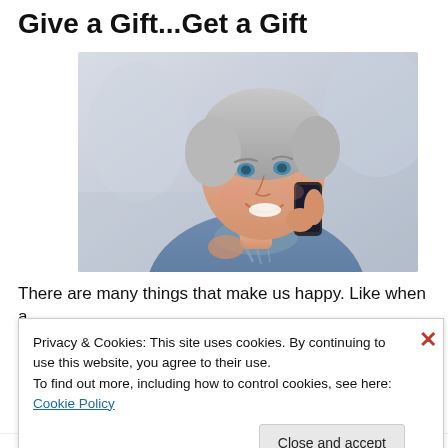Give a Gift...Get a Gift
[Figure (photo): A smiling older woman with short grey hair, wearing a blue sweater and a striped scarf, talking on a mobile phone and looking upward.]
There are many things that make us happy. Like when a
Privacy & Cookies: This site uses cookies. By continuing to use this website, you agree to their use.
To find out more, including how to control cookies, see here: Cookie Policy
Close and accept